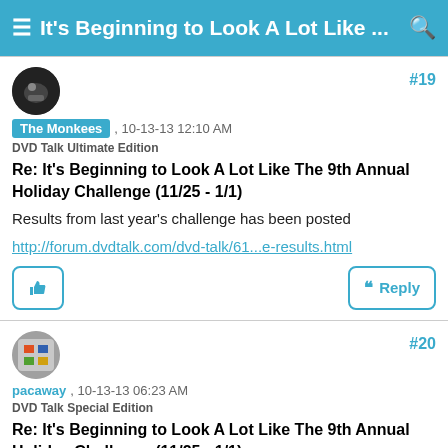≡  It's Beginning to Look A Lot Like ...  🔍
#19
The Monkees , 10-13-13 12:10 AM
DVD Talk Ultimate Edition
Re: It's Beginning to Look A Lot Like The 9th Annual Holiday Challenge (11/25 - 1/1)
Results from last year's challenge has been posted
http://forum.dvdtalk.com/dvd-talk/61...e-results.html
#20
pacaway , 10-13-13 06:23 AM
DVD Talk Special Edition
Re: It's Beginning to Look A Lot Like The 9th Annual Holiday Challenge (11/25 - 1/1)
Quote: